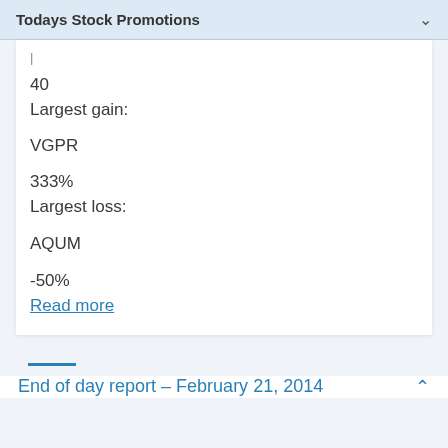Todays Stock Promotions
40
Largest gain:
VGPR
333%
Largest loss:
AQUM
-50%
Read more
End of day report – February 21, 2014